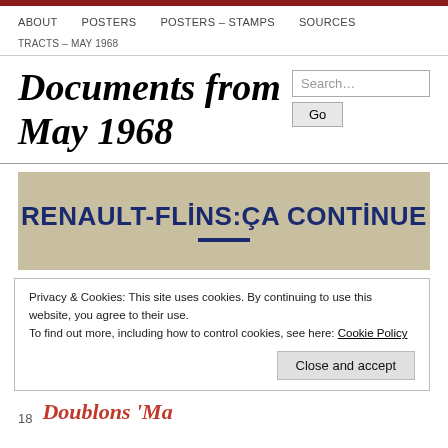ABOUT   POSTERS   POSTERS – STAMPS   SOURCES
TRACTS – MAY 1968
Documents from May 1968
[Figure (photo): Banner image with text: RENAULT-FLINS:ÇA CONTINUE on a beige/tan background with a dark blue underline]
Privacy & Cookies: This site uses cookies. By continuing to use this website, you agree to their use.
To find out more, including how to control cookies, see here: Cookie Policy
Close and accept
Doublons 'May